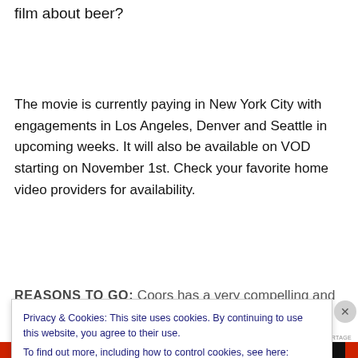film about beer?
The movie is currently paying in New York City with engagements in Los Angeles, Denver and Seattle in upcoming weeks. It will also be available on VOD starting on November 1st. Check your favorite home video providers for availability.
REASONS TO GO: Coors has a very compelling and
Privacy & Cookies: This site uses cookies. By continuing to use this website, you agree to their use.
To find out more, including how to control cookies, see here: Cookie Policy
Close and accept